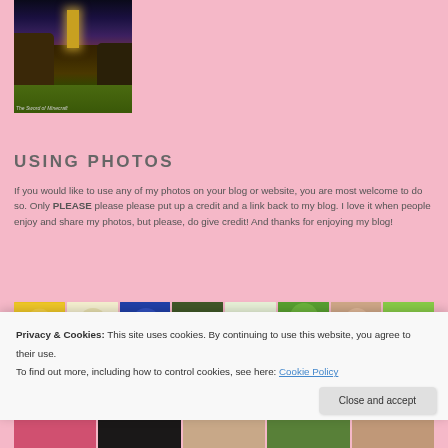[Figure (photo): Night/dusk photo of a castle or tower lit in golden light on top of rocky cliffs, with green fields below and purple/blue sky. Caption reads: The Sword of Minecraft]
USING PHOTOS
If you would like to use any of my photos on your blog or website, you are most welcome to do so. Only PLEASE please please put up a credit and a link back to my blog. I love it when people enjoy and share my photos, but please, do give credit! And thanks for enjoying my blog!
[Figure (photo): Row of thumbnail images of various blog avatars and photos]
Privacy & Cookies: This site uses cookies. By continuing to use this website, you agree to their use.
To find out more, including how to control cookies, see here: Cookie Policy
Close and accept
[Figure (photo): Row of thumbnail images at the bottom of the page]